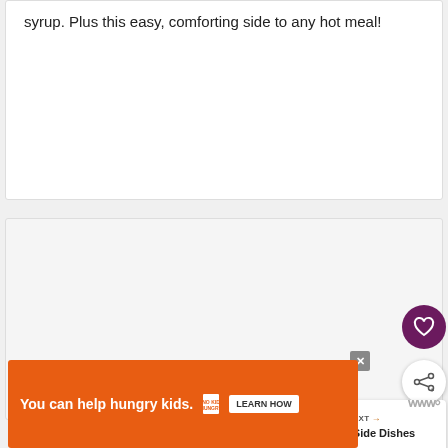syrup. Plus this easy, comforting side to any hot meal!
[Figure (other): Gray placeholder content area]
[Figure (other): Heart/favorite button (purple circle with white heart icon)]
[Figure (other): Share button (white circle with share icon)]
[Figure (other): What's Next panel with food image thumbnail and text: Healthy Side Dishes for...]
[Figure (other): Advertisement banner: You can help hungry kids. No Kid Hungry. Learn How. With close button and logo.]